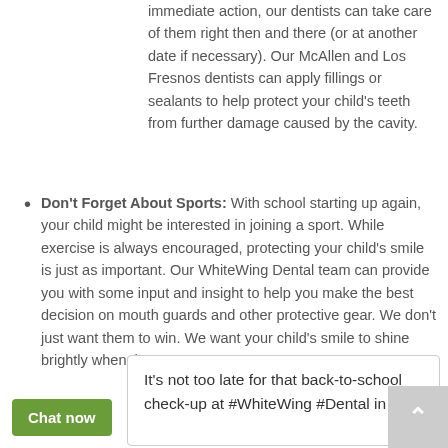immediate action, our dentists can take care of them right then and there (or at another date if necessary). Our McAllen and Los Fresnos dentists can apply fillings or sealants to help protect your child's teeth from further damage caused by the cavity.
Don't Forget About Sports: With school starting up again, your child might be interested in joining a sport. While exercise is always encouraged, protecting your child's smile is just as important. Our WhiteWing Dental team can provide you with some input and insight to help you make the best decision on mouth guards and other protective gear. We don't just want them to win. We want your child's smile to shine brightly when they score.
It's not too late for that back-to-school check-up at #WhiteWing #Dental in